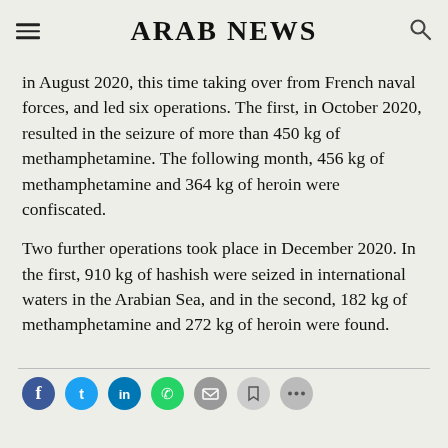ARAB NEWS
in August 2020, this time taking over from French naval forces, and led six operations. The first, in October 2020, resulted in the seizure of more than 450 kg of methamphetamine. The following month, 456 kg of methamphetamine and 364 kg of heroin were confiscated.
Two further operations took place in December 2020. In the first, 910 kg of hashish were seized in international waters in the Arabian Sea, and in the second, 182 kg of methamphetamine and 272 kg of heroin were found.